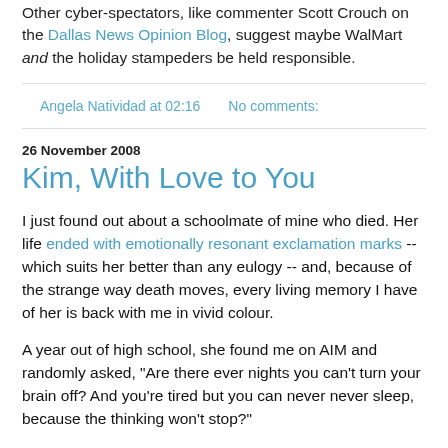Other cyber-spectators, like commenter Scott Crouch on the Dallas News Opinion Blog, suggest maybe WalMart and the holiday stampeders be held responsible.
Angela Natividad at 02:16   No comments:
26 November 2008
Kim, With Love to You
I just found out about a schoolmate of mine who died. Her life ended with emotionally resonant exclamation marks -- which suits her better than any eulogy -- and, because of the strange way death moves, every living memory I have of her is back with me in vivid colour.
A year out of high school, she found me on AIM and randomly asked, "Are there ever nights you can't turn your brain off? And you're tired but you can never never sleep, because the thinking won't stop?"
I didn't answer, probably because I wasn't sure how. It was...